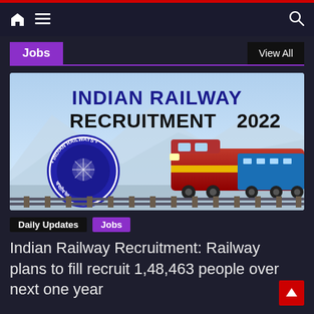Navigation bar with home, menu, and search icons
Jobs | View All
[Figure (illustration): Indian Railway Recruitment 2022 banner showing Indian Railways logo (circular blue emblem) and a red locomotive train against a light blue mountain background with text 'INDIAN RAILWAY RECRUITMENT 2022']
Daily Updates
Jobs
Indian Railway Recruitment: Railway plans to fill recruit 1,48,463 people over next one year